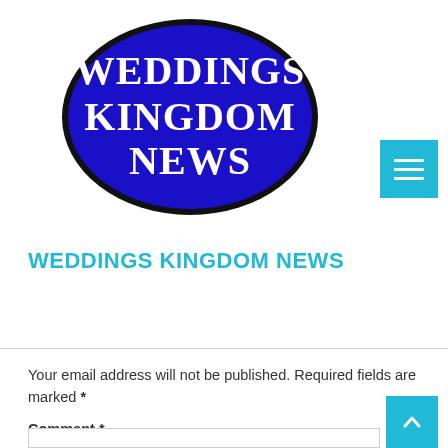[Figure (logo): Weddings Kingdom News oval logo — dark navy/blue oval with white serif text reading WEDDINGS KINGDOM NEWS]
WEDDINGS KINGDOM NEWS
Your email address will not be published. Required fields are marked *
Comment *